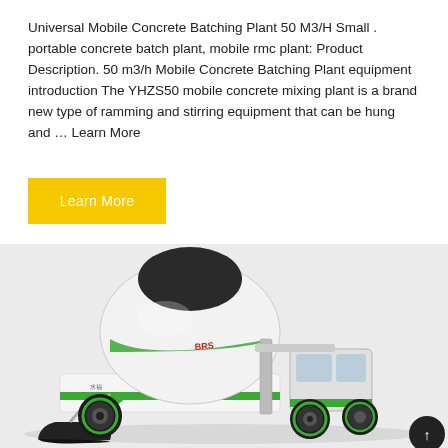Universal Mobile Concrete Batching Plant 50 M3/H Small . portable concrete batch plant, mobile rmc plant: Product Description. 50 m3/h Mobile Concrete Batching Plant equipment introduction The YHZS50 mobile concrete mixing plant is a brand new type of ramming and stirring equipment that can be hung and ... Learn More
Learn More
[Figure (photo): A self-loading mobile concrete mixer truck with a large drum on top, green and white color scheme, with a front-loading bucket/scoop and operator cabin visible.]